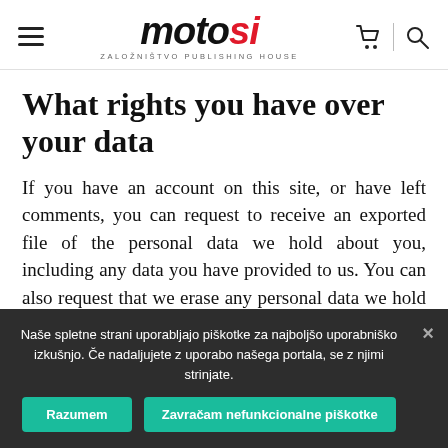motosi — ZALOZNISTVO PUBLISHING HOUSE
What rights you have over your data
If you have an account on this site, or have left comments, you can request to receive an exported file of the personal data we hold about you, including any data you have provided to us. You can also request that we erase any personal data we hold about you.
Naše spletne strani uporabljajo piškotke za najboljšo uporabniško izkušnjo. Če nadaljujete z uporabo našega portala, se z njimi strinjate.
Razumem | Zavračam nefunkcionalne piškotke